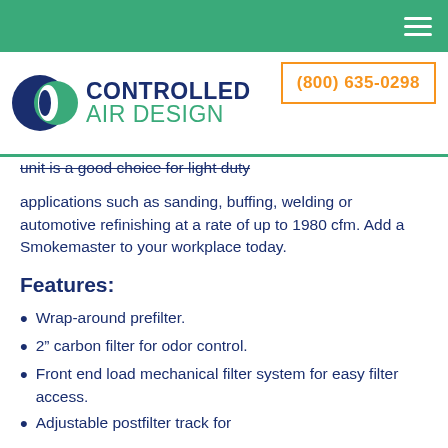[Figure (logo): Controlled Air Design company logo with blue and green circular icon and text]
(800) 635-0298
unit is a good choice for light duty applications such as sanding, buffing, welding or automotive refinishing at a rate of up to 1980 cfm. Add a Smokemaster to your workplace today.
Features:
Wrap-around prefilter.
2” carbon filter for odor control.
Front end load mechanical filter system for easy filter access.
Adjustable postfilter track for